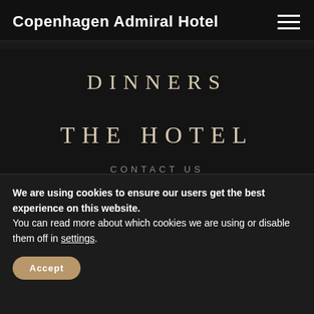Copenhagen Admiral Hotel
DINNERS
THE HOTEL
CONTACT US
ABOUT
PRACTICALITY
SALT BAR & RESTAURANT
We are using cookies to ensure our users get the best experience on this website.
You can read more about which cookies we are using or disable them off in settings.
Accept